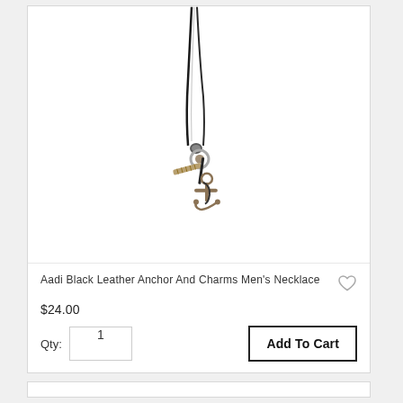[Figure (photo): Product photo of Aadi Black Leather Anchor And Charms Men's Necklace — a black leather cord necklace with anchor charm and additional charms hanging from a knotted connector, shown against white background]
Aadi Black Leather Anchor And Charms Men's Necklace
$24.00
Qty: 1
Add To Cart